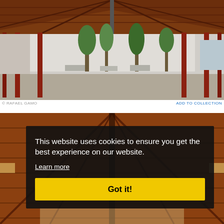[Figure (photo): Architectural photograph of an open-air building with wooden roof trusses, red/brown structural columns, and a central courtyard with palm trees and concrete benches. Taken from inside looking outward.]
© RAFAEL GAMO
ADD TO COLLECTION
[Figure (photo): Close-up architectural photo of wooden ceiling/roof structure with warm brown tones, partially obscured by a cookie consent overlay.]
This website uses cookies to ensure you get the best experience on our website.
Learn more
Got it!